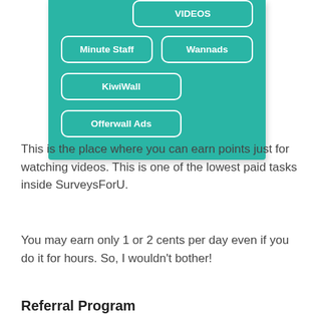[Figure (screenshot): Screenshot of a teal/green UI panel showing navigation buttons: VIDEOS (top right, partially visible), Minute Staff (left), Wannads (right), KiwiWall (left), Offerwall Ads (left). All buttons have white rounded-rectangle borders on a teal background.]
This is the place where you can earn points just for watching videos. This is one of the lowest paid tasks inside SurveysForU.
You may earn only 1 or 2 cents per day even if you do it for hours. So, I wouldn't bother!
Referral Program